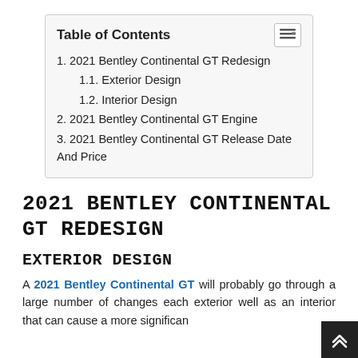| Table of Contents |
| --- |
| 1. 2021 Bentley Continental GT Redesign |
| 1.1. Exterior Design |
| 1.2. Interior Design |
| 2. 2021 Bentley Continental GT Engine |
| 3. 2021 Bentley Continental GT Release Date And Price |
2021 BENTLEY CONTINENTAL GT REDESIGN
EXTERIOR DESIGN
A 2021 Bentley Continental GT will probably go through a large number of changes each exterior well as an interior that can cause a more significant